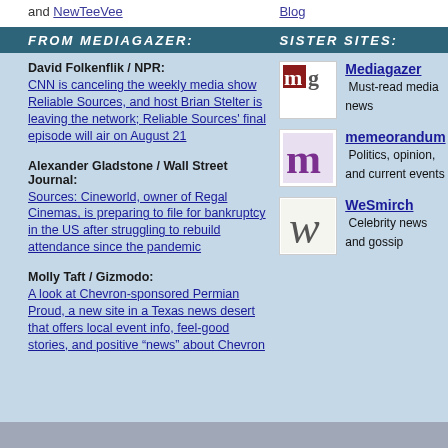and NewTeeVee
Blog
FROM MEDIAGAZER:
SISTER SITES:
David Folkenflik / NPR: CNN is canceling the weekly media show Reliable Sources, and host Brian Stelter is leaving the network; Reliable Sources' final episode will air on August 21
Alexander Gladstone / Wall Street Journal: Sources: Cineworld, owner of Regal Cinemas, is preparing to file for bankruptcy in the US after struggling to rebuild attendance since the pandemic
Molly Taft / Gizmodo: A look at Chevron-sponsored Permian Proud, a new site in a Texas news desert that offers local event info, feel-good stories, and positive “news” about Chevron
Mediagazer
Must-read media news
memeorandum
Politics, opinion, and current events
WeSmirch
Celebrity news and gossip